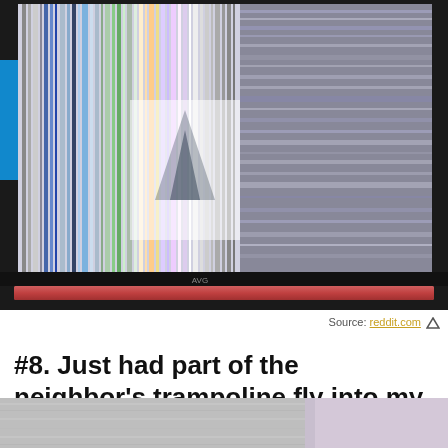[Figure (photo): Photo of a laptop with a severely cracked and distorted screen showing colorful vertical streaks and horizontal glitches on a dark bezel, with a red/pink strip along the bottom edge of the laptop base.]
Source: reddit.com
#8. Just had part of the neighbor’s trampoline fly into my nieces’ bedroom
[Figure (photo): Partial photo showing a textured gray/silver surface and a light purple wall or surface — bottom portion of the next image in the article.]